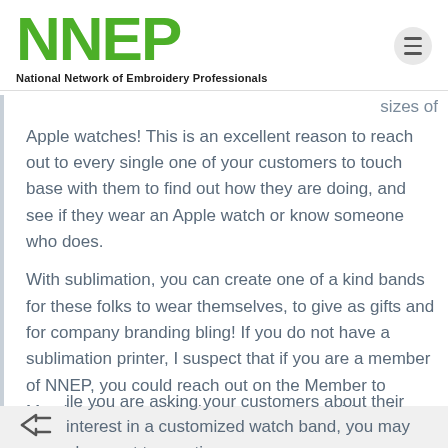[Figure (logo): NNEP logo - National Network of Embroidery Professionals green block letters]
sizes of Apple watches! This is an excellent reason to reach out to every single one of your customers to touch base with them to find out how they are doing, and see if they wear an Apple watch or know someone who does.
With sublimation, you can create one of a kind bands for these folks to wear themselves, to give as gifts and for company branding bling! If you do not have a sublimation printer, I suspect that if you are a member of NNEP, you could reach out on the Member to Member forum and find someone that could produce the sublimation transfers for you.
While you are asking your customers about their interest in a customized watch band, you may also want to mention